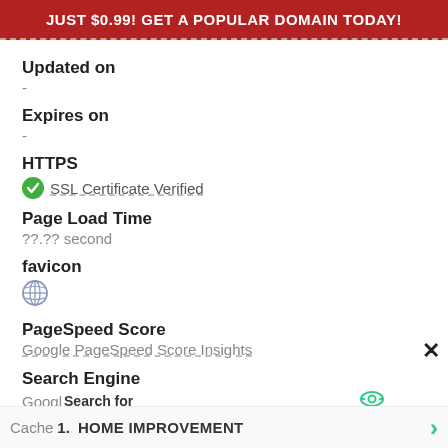JUST $0.99! GET A POPULAR DOMAIN TODAY!
Updated on
-
Expires on
-
HTTPS
SSL Certificate Verified
Page Load Time
??.?? second
favicon
[Figure (other): Globe/compass favicon icon (gray)]
PageSpeed Score
Google PageSpeed Score Insights
Search Engine
Google
Search for
Cache  1.  HOME IMPROVEMENT